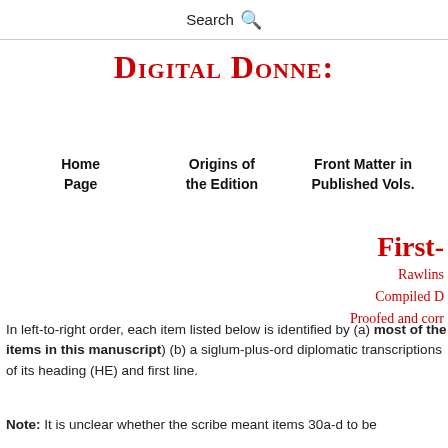Search
Digital Donne:
Home Page   Origins of the Edition   Front Matter in Published Vols.
First-
Rawlins
Compiled D
Proofed and corr
In left-to-right order, each item listed below is identified by (a) most of the items in this manuscript (b) a siglum-plus-order diplomatic transcriptions of its heading (HE) and first line.
Note: It is unclear whether the scribe meant items 30a-d to be